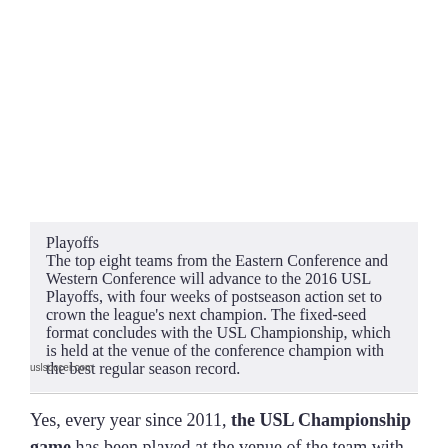[Figure (other): A quoted excerpt box with light grey background containing a bold heading 'Playoffs' and body text about the 2016 USL Playoffs format and championship game.]
uslsoccer.com
Yes, every year since 2011, the USL Championship game has been played at the venue of the team with